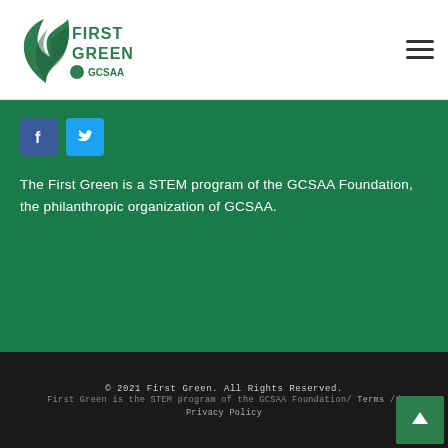[Figure (logo): First Green GCSAA logo — green leaf/flame mark with 'FIRST GREEN' text and GCSAA sub-logo]
[Figure (illustration): Hamburger menu icon (three horizontal lines)]
[Figure (illustration): Facebook icon (blue square with white 'f') and Twitter icon (blue square with white bird)]
The First Green is a STEM program of the GCSAA Foundation, the philanthropic organization of GCSAA.
© 2021 First Green. All Rights Reserved. First Green is the STEM program of the GCSAA Foundation/ Terms // Privacy Policy